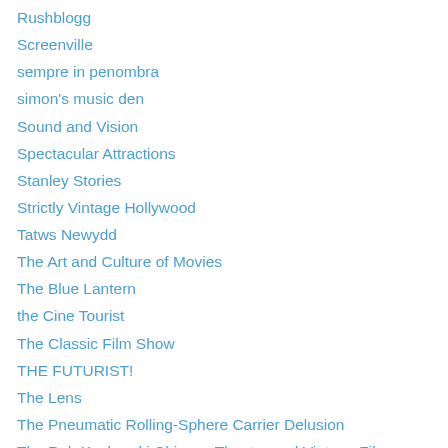Rushblogg
Screenville
sempre in penombra
simon's music den
Sound and Vision
Spectacular Attractions
Stanley Stories
Strictly Vintage Hollywood
Tatws Newydd
The Art and Culture of Movies
The Blue Lantern
the Cine Tourist
The Classic Film Show
THE FUTURIST!
The Lens
The Pneumatic Rolling-Sphere Carrier Delusion
The Rob Kozlowski Chicago Theater and Vintage Film Medicine Show
The Tainted Archive
Voyages Extraordinaires
Wide Awake and Writing